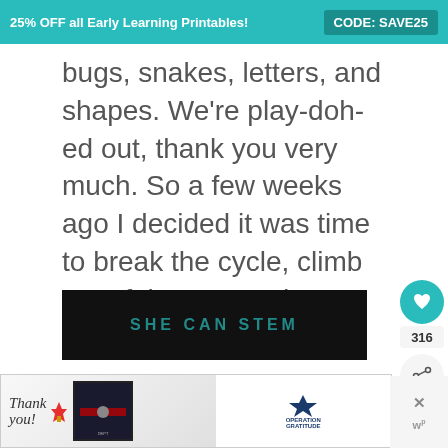25% OFF all Early Learning Printables! CODE: SAVE25
bugs, snakes, letters, and shapes. We're play-doh-ed out, thank you very much. So a few weeks ago I decided it was time to break the cycle, climb out of that rut, and try something new.
[Figure (other): SHE CAN STEM advertisement banner with dark background]
[Figure (other): Operation Gratitude advertisement with thank you theme and firefighters]